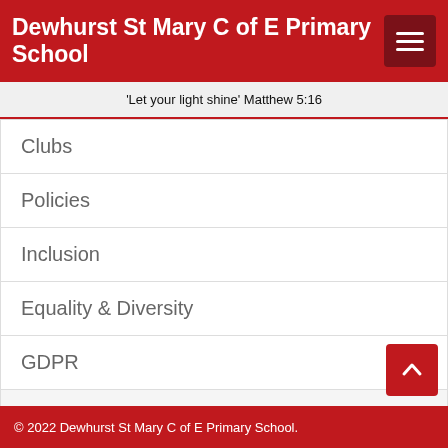Dewhurst St Mary C of E Primary School
'Let your light shine' Matthew 5:16
Clubs
Policies
Inclusion
Equality & Diversity
GDPR
eSafety
Useful Links
© 2022 Dewhurst St Mary C of E Primary School.